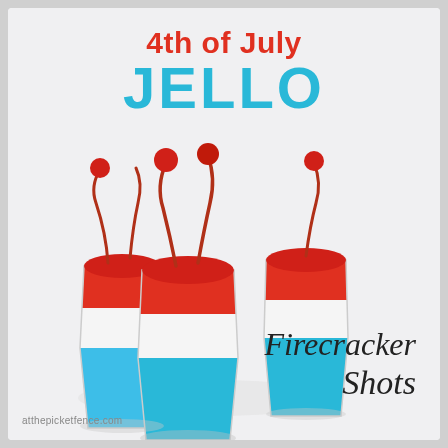4th of July JELLO Firecracker Shots
[Figure (photo): Three layered jello shot cups with blue, white, and red layers topped with maraschino cherries on stems, photographed on a white background.]
Firecracker Shots
atthepicketfence.com